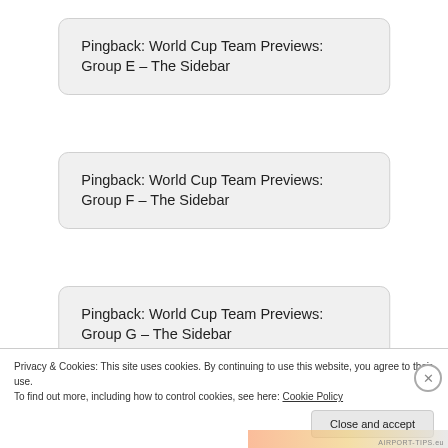Pingback: World Cup Team Previews: Group E – The Sidebar
Pingback: World Cup Team Previews: Group F – The Sidebar
Pingback: World Cup Team Previews: Group G – The Sidebar
Privacy & Cookies: This site uses cookies. By continuing to use this website, you agree to their use.
To find out more, including how to control cookies, see here: Cookie Policy
Close and accept